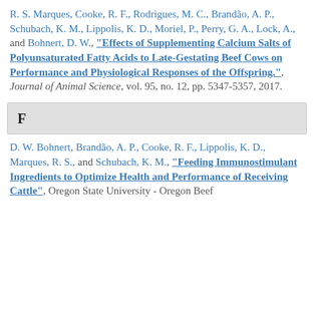R. S. Marques, Cooke, R. F., Rodrigues, M. C., Brandão, A. P., Schubach, K. M., Lippolis, K. D., Moriel, P., Perry, G. A., Lock, A., and Bohnert, D. W., "Effects of Supplementing Calcium Salts of Polyunsaturated Fatty Acids to Late-Gestating Beef Cows on Performance and Physiological Responses of the Offspring.", Journal of Animal Science, vol. 95, no. 12, pp. 5347-5357, 2017.
F
D. W. Bohnert, Brandão, A. P., Cooke, R. F., Lippolis, K. D., Marques, R. S., and Schubach, K. M., "Feeding Immunostimulant Ingredients to Optimize Health and Performance of Receiving Cattle", Oregon State University - Oregon Beef